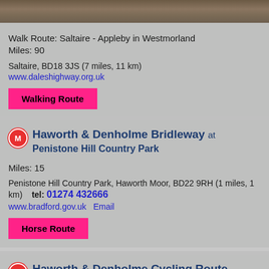[Figure (photo): Outdoor landscape/nature photo strip at top]
Walk Route: Saltaire - Appleby in Westmorland
Miles: 90
Saltaire, BD18 3JS (7 miles, 11 km)
www.daleshighway.org.uk
Walking Route
Haworth & Denholme Bridleway at Penistone Hill Country Park
Miles: 15
Penistone Hill Country Park, Haworth Moor, BD22 9RH (1 miles, 1 km)   tel: 01274 432666
www.bradford.gov.uk   Email
Horse Route
Haworth & Denholme Cycling Route at Penistone Hill Country Park